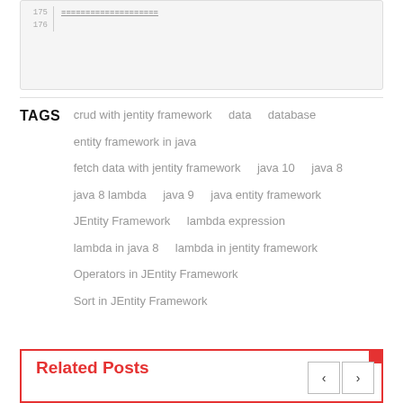[Figure (screenshot): Code snippet box showing line 175 with underlined equals signs]
TAGS  crud with jentity framework  data  database  entity framework in java  fetch data with jentity framework  java 10  java 8  java 8 lambda  java 9  java entity framework  JEntity Framework  lambda expression  lambda in java 8  lambda in jentity framework  Operators in JEntity Framework  Sort in JEntity Framework
Related Posts